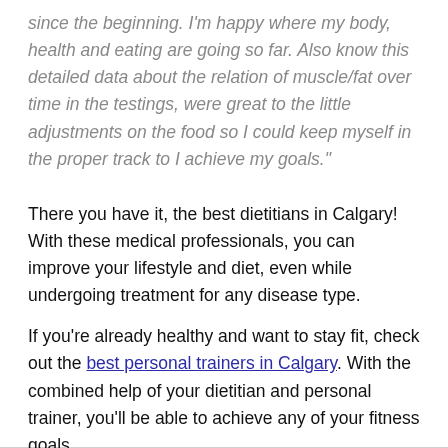since the beginning. I'm happy where my body, health and eating are going so far. Also know this detailed data about the relation of muscle/fat over time in the testings, were great to the little adjustments on the food so I could keep myself in the proper track to I achieve my goals."
There you have it, the best dietitians in Calgary! With these medical professionals, you can improve your lifestyle and diet, even while undergoing treatment for any disease type.
If you're already healthy and want to stay fit, check out the best personal trainers in Calgary. With the combined help of your dietitian and personal trainer, you'll be able to achieve any of your fitness goals.